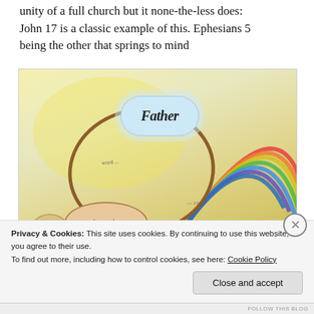unity of a full church but it none-the-less does: John 17 is a classic example of this. Ephesians 5 being the other that springs to mind
[Figure (illustration): Hand-drawn watercolour diagram showing the Trinity and disciples. A cloud labelled 'Father' is at top centre, with a brown oval loop connecting to an oval labelled 'disciples' at bottom left, and red cursive text 'Son' at bottom right. Rainbow-coloured arcs fan out on the right side of the image.]
Privacy & Cookies: This site uses cookies. By continuing to use this website, you agree to their use.
To find out more, including how to control cookies, see here: Cookie Policy
Close and accept